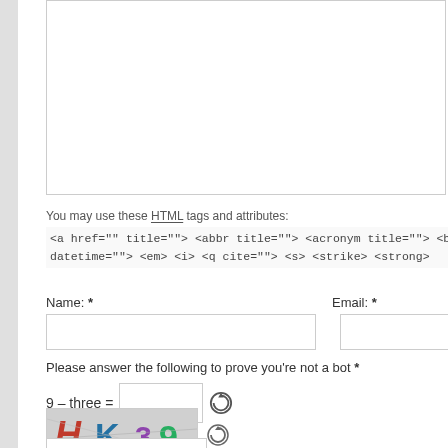You may use these HTML tags and attributes: <a href="" title=""> <abbr title=""> <acronym title=""> <b> datetime=""> <em> <i> <q cite=""> <s> <strike> <strong>
Name: *
Email: *
Please answer the following to prove you're not a bot *
9 – three =
[Figure (screenshot): CAPTCHA image showing letters HK39 in colorful stylized text on a gray textured background with a refresh/reload icon next to it]
CAPTCHA Code *